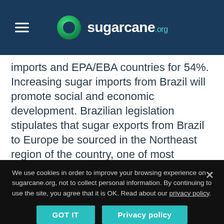sugarcane.org
imports and EPA/EBA countries for 54%. Increasing sugar imports from Brazil will promote social and economic development. Brazilian legislation stipulates that sugar exports from Brazil to Europe be sourced in the Northeast region of the country, one of most vulnerable regions of the country. The GDP per capita of this region was US$5,834 in 2015 (US$ 8,757 for Brazil). Compare that with the US$9,252 GDP of Mauritius in the same period[1]. In a recent intervention in
We use cookies in order to improve your browsing experience on sugarcane.org, not to collect personal information. By continuing to use the site, you agree that it is OK. Read about our privacy policy.
GOT IT
Privacy policy